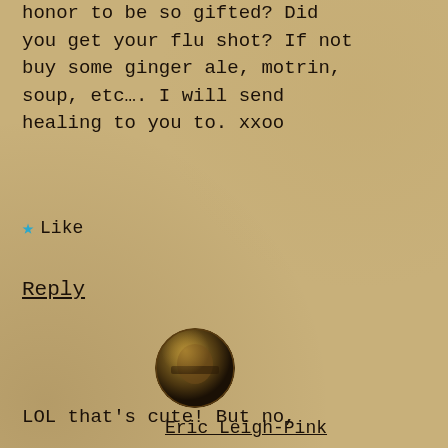honor to be so gifted? Did you get your flu shot? If not buy some ginger ale, motrin, soup, etc…. I will send healing to you to. xxoo
★ Like
Reply
[Figure (photo): Circular avatar photo of a person, dark tones, olive/gold coloring]
Eric Leigh-Pink
1 Jan 2014
LOL that's cute! But no,